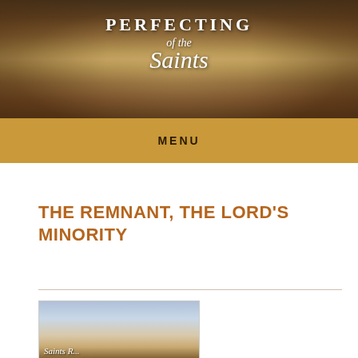[Figure (photo): Website header banner for 'Perfecting of the Saints' with aged book and architectural background imagery]
MENU
THE REMNANT, THE LORD'S MINORITY
[Figure (photo): Thumbnail image showing wheat or grain stalks against a sky background]